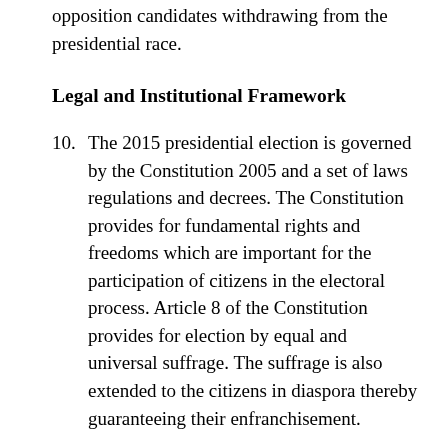opposition candidates withdrawing from the presidential race.
Legal and Institutional Framework
10. The 2015 presidential election is governed by the Constitution 2005 and a set of laws regulations and decrees. The Constitution provides for fundamental rights and freedoms which are important for the participation of citizens in the electoral process. Article 8 of the Constitution provides for election by equal and universal suffrage. The suffrage is also extended to the citizens in diaspora thereby guaranteeing their enfranchisement.